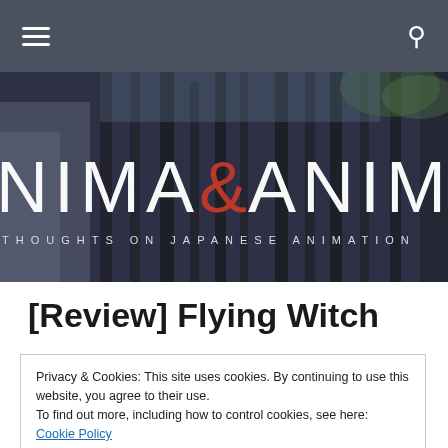Navigation bar with hamburger menu and search icon
[Figure (illustration): Hero banner image showing a Japanese street scene with books/shelves, overlaid with large white text 'NIMA & ANIME' and subtitle 'THOUGHTS ON JAPANESE ANIMATION']
[Review] Flying Witch
Privacy & Cookies: This site uses cookies. By continuing to use this website, you agree to their use.
To find out more, including how to control cookies, see here: Cookie Policy
Close and accept